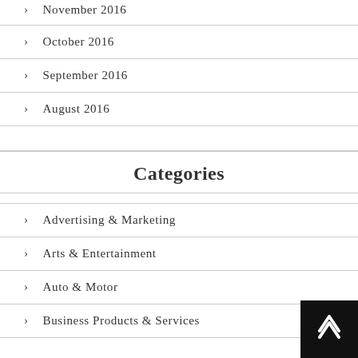November 2016
October 2016
September 2016
August 2016
Categories
Advertising & Marketing
Arts & Entertainment
Auto & Motor
Business Products & Services